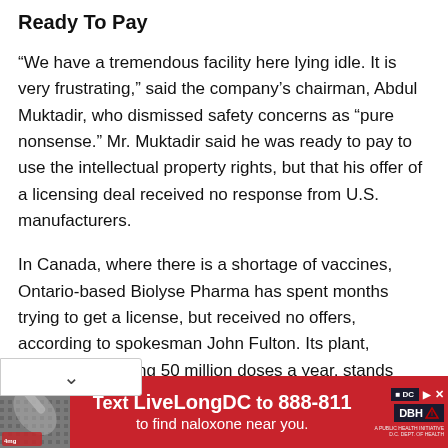Ready To Pay
“We have a tremendous facility here lying idle. It is very frustrating,” said the company’s chairman, Abdul Muktadir, who dismissed safety concerns as “pure nonsense.” Mr. Muktadir said he was ready to pay to use the intellectual property rights, but that his offer of a licensing deal received no response from U.S. manufacturers.
In Canada, where there is a shortage of vaccines, Ontario-based Biolyse Pharma has spent months trying to get a license, but received no offers, according to spokesman John Fulton. Its plant, capable of making 50 million doses a year, stands unused.
[Figure (other): Red advertisement banner: Text LiveLongDC to 888-811 to find naloxone near you. Includes a photo on the left and logos (DC, DBH) on the right.]